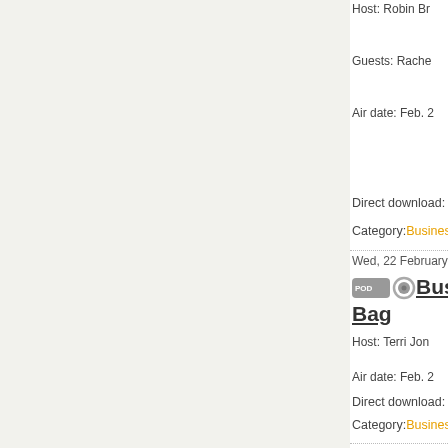Host: Robin Br...
Guests: Rache...
Air date: Feb. ...
Direct download: BB...
Category:Business ...
Wed, 22 February 2...
Bus... Bag...
Host: Terri Jon...
Air date: Feb. ...
Direct download: BB...
Category:Business ...
Mon, 16 January 20...
Bus... Wel...